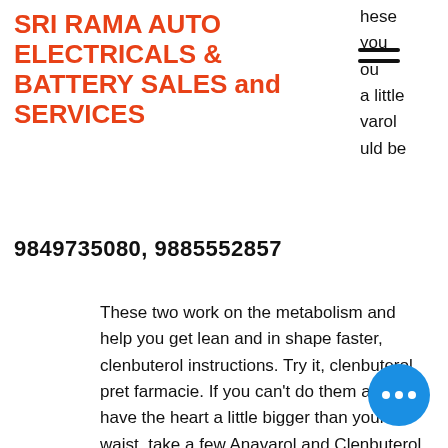SRI RAMA AUTO ELECTRICALS & BATTERY SALES and SERVICES
9849735080, 9885552857
hese
you
ou
a little
varol
uld be
These two work on the metabolism and help you get lean and in shape faster, clenbuterol instructions. Try it, clenbuterol pret farmacie. If you can't do them and you have the heart a little bigger than your waist, take a few Anavarol and Clenbuterol together and you should be fine. Cortisol plus Anavarol or even Clenbuterol plus Anavarol, but don't take too much - you could break down any other steroid in there. If you have a low metabolism for some reason, you have a better chance to get the results you want the beginning to prevent the heart problems later on, ostarine side effects liver.